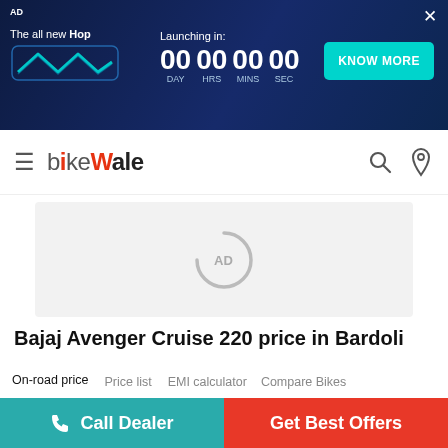[Figure (screenshot): Ad banner for 'The all new Hop' electric bike with countdown timer showing 00 DAY 00 HRS 00 MINS 00 SEC and a KNOW MORE button]
[Figure (logo): BikeWale website logo with hamburger menu and search/location icons]
[Figure (other): AD placeholder loading spinner]
Bajaj Avenger Cruise 220 price in Bardoli
On-road price | Price list | EMI calculator | Compare Bikes
[Figure (photo): Bajaj Avenger Cruise 220 motorcycle image with Version selector showing BS VI]
Call Dealer
Get Best Offers